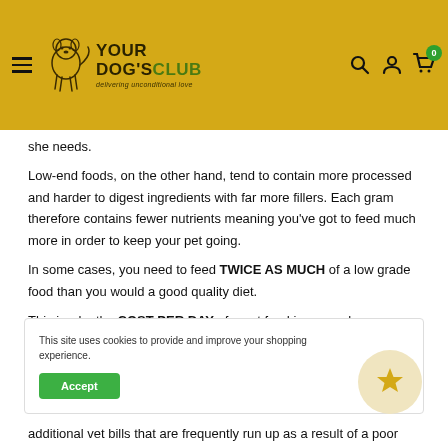Your Dog's Club — delivering unconditional love
she needs.
Low-end foods, on the other hand, tend to contain more processed and harder to digest ingredients with far more fillers. Each gram therefore contains fewer nutrients meaning you've got to feed much more in order to keep your pet going.
In some cases, you need to feed TWICE AS MUCH of a low grade food than you would a good quality diet.
This is why the COST PER DAY of a pet food is so much more important than the price per pack or price per gram.
This site uses cookies to provide and improve your shopping experience.
additional vet bills that are frequently run up as a result of a poor